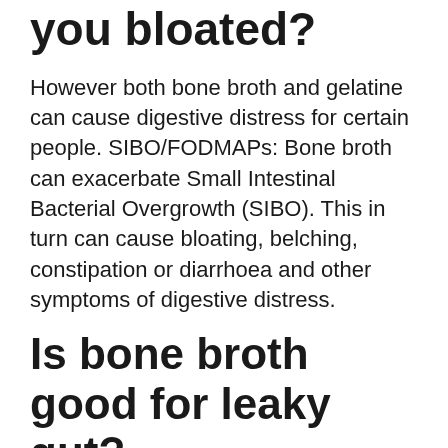you bloated?
However both bone broth and gelatine can cause digestive distress for certain people. SIBO/FODMAPs: Bone broth can exacerbate Small Intestinal Bacterial Overgrowth (SIBO). This in turn can cause bloating, belching, constipation or diarrhoea and other symptoms of digestive distress.
Is bone broth good for leaky gut?
Yes, we are now finding that bone broth helps heal Leaky Gut, as well as arthritis and autoimmunity because it contains nutrients that help heal intestinal cells and support healthy skin and joints as well. Bone broth is